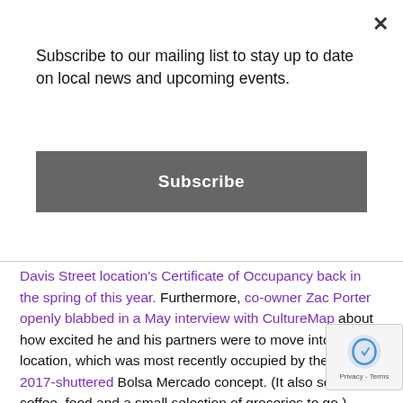Subscribe to our mailing list to stay up to date on local news and upcoming events.
Subscribe
Davis Street location's Certificate of Occupancy back in the spring of this year. Furthermore, co-owner Zac Porter openly blabbed in a May interview with CultureMap about how excited he and his partners were to move into this location, which was most recently occupied by the similar, 2017-shuttered Bolsa Mercado concept. (It also served coffee, food and a small selection of groceries to go.)
Perhaps that's why, at the same meeting where West gave Royal Blue his backing, other council members balked. District 4's Carolyn Arnold and District 6's Omar Narvaez particularly objected, bringing up legitimate concerns about the subst... about whether fancy convenience stores along the lines... Blue represented our values as a city and about the city n... to put its focus toward placing groceries in places of actual need.